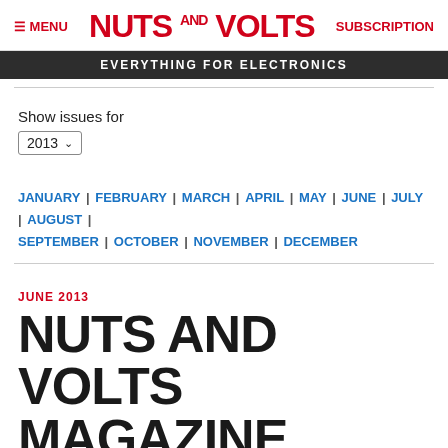MENU | NUTS AND VOLTS | SUBSCRIPTION
EVERYTHING FOR ELECTRONICS
Show issues for
2013
JANUARY | FEBRUARY | MARCH | APRIL | MAY | JUNE | JULY | AUGUST | SEPTEMBER | OCTOBER | NOVEMBER | DECEMBER
JUNE 2013
NUTS AND VOLTS MAGAZINE